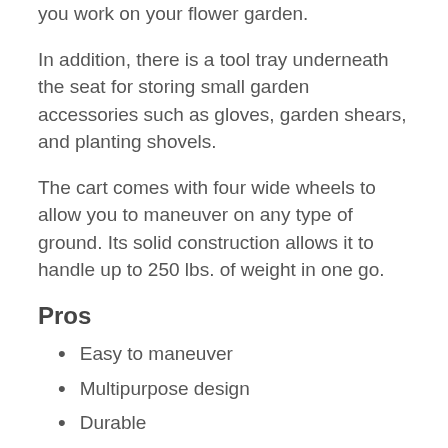you work on your flower garden.
In addition, there is a tool tray underneath the seat for storing small garden accessories such as gloves, garden shears, and planting shovels.
The cart comes with four wide wheels to allow you to maneuver on any type of ground. Its solid construction allows it to handle up to 250 lbs. of weight in one go.
Pros
Easy to maneuver
Multipurpose design
Durable
Easy to assemble